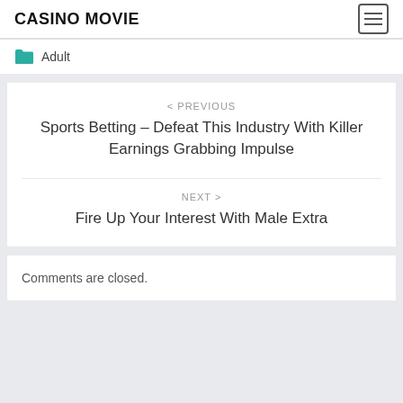CASINO MOVIE
Adult
< PREVIOUS
Sports Betting – Defeat This Industry With Killer Earnings Grabbing Impulse
NEXT >
Fire Up Your Interest With Male Extra
Comments are closed.